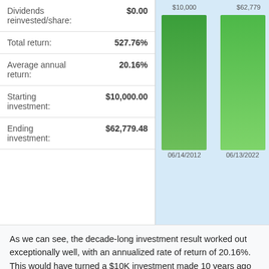| Label | Value |
| --- | --- |
| Dividends reinvested/share: | $0.00 |
| Total return: | 527.76% |
| Average annual return: | 20.16% |
| Starting investment: | $10,000.00 |
| Ending investment: | $62,779.48 |
[Figure (bar-chart): Investment Growth]
As we can see, the decade-long investment result worked out exceptionally well, with an annualized rate of return of 20.16%. This would have turned a $10K investment made 10 years ago into $62,779.48 today (as of 06/13/2022). On a total return basis, that’s a result of 527.76% (something to think about: how might BSX shares perform over the next 10 years?). [These